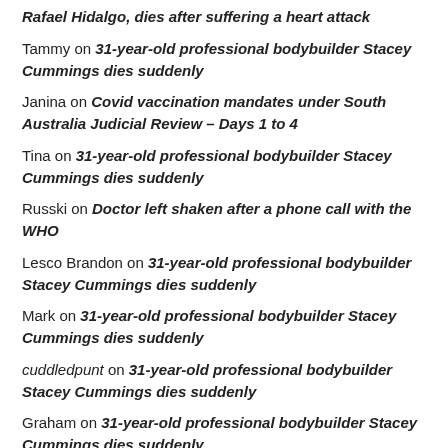Rafael Hidalgo, dies after suffering a heart attack
Tammy on 31-year-old professional bodybuilder Stacey Cummings dies suddenly
Janina on Covid vaccination mandates under South Australia Judicial Review – Days 1 to 4
Tina on 31-year-old professional bodybuilder Stacey Cummings dies suddenly
Russki on Doctor left shaken after a phone call with the WHO
Lesco Brandon on 31-year-old professional bodybuilder Stacey Cummings dies suddenly
Mark on 31-year-old professional bodybuilder Stacey Cummings dies suddenly
cuddledpunt on 31-year-old professional bodybuilder Stacey Cummings dies suddenly
Graham on 31-year-old professional bodybuilder Stacey Cummings dies suddenly